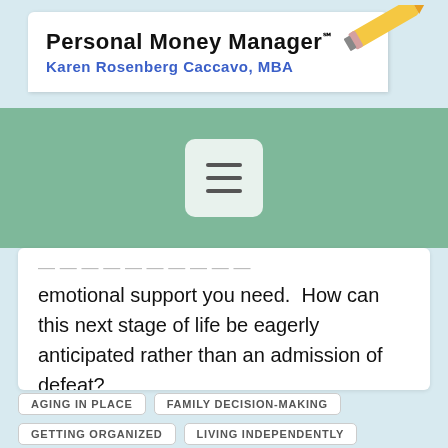Personal Money Manager℠
Karen Rosenberg Caccavo, MBA
[Figure (screenshot): Navigation hamburger menu button (three horizontal lines) on a green/teal background bar]
emotional support you need.  How can this next stage of life be eagerly anticipated rather than an admission of defeat?

Happy Independence Day (even if it's not July 4)!
AGING IN PLACE
FAMILY DECISION-MAKING
GETTING ORGANIZED
LIVING INDEPENDENTLY